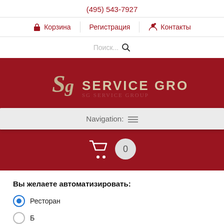(495) 543-7927
Корзина | Регистрация | Контакты
Поиск...
[Figure (logo): SG Service Group logo on red background with navigation bar showing 'Navigation:' and a hamburger icon, plus a shopping cart with badge showing 0]
Вы желаете автоматизировать:
Ресторан
Б...